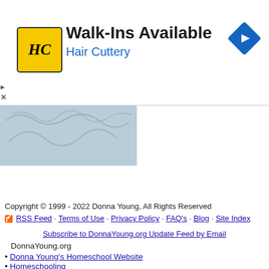[Figure (other): Hair Cuttery advertisement banner with logo, Walk-Ins Available text, and navigation arrow icon]
[Figure (illustration): Donna Young signature/logo image with blue and white background and cursive script]
Copyright © 1999 - 2022 Donna Young, All Rights Reserved
RSS Feed · Terms of Use · Privacy Policy · FAQ's · Blog · Site Index
Subscribe to DonnaYoung.org Update Feed by Email
DonnaYoung.org
Donna Young's Homeschool Website
Homeschooling
Homeschool Planner
Household
Calendars
Art
English
Handwriting
History
Math
Science